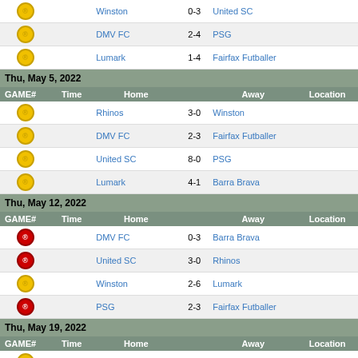| GAME# | Time | Home |  | Away | Location |
| --- | --- | --- | --- | --- | --- |
| ® (yellow) |  | Winston | 0-3 | United SC |  |
| ® (yellow) |  | DMV FC | 2-4 | PSG |  |
| ® (yellow) |  | Lumark | 1-4 | Fairfax Futballer |  |
| Thu, May 5, 2022 |  |  |  |  |  |
| GAME# | Time | Home |  | Away | Location |
| ® (yellow) |  | Rhinos | 3-0 | Winston |  |
| ® (yellow) |  | DMV FC | 2-3 | Fairfax Futballer |  |
| ® (yellow) |  | United SC | 8-0 | PSG |  |
| ® (yellow) |  | Lumark | 4-1 | Barra Brava |  |
| Thu, May 12, 2022 |  |  |  |  |  |
| GAME# | Time | Home |  | Away | Location |
| ® (red) |  | DMV FC | 0-3 | Barra Brava |  |
| ® (red) |  | United SC | 3-0 | Rhinos |  |
| ® (yellow) |  | Winston | 2-6 | Lumark |  |
| ® (red) |  | PSG | 2-3 | Fairfax Futballer |  |
| Thu, May 19, 2022 |  |  |  |  |  |
| GAME# | Time | Home |  | Away | Location |
| ® (yellow) |  | United SC | 3-7 | Fairfax Futballer |  |
| ® (yellow) |  | DMV FC | 5-3 | Winston |  |
| ® (red) |  | Barra Brava | 2-4 | PSG |  |
| ® (red) |  | Lumark | 3-0 | Rhinos |  |
® - has been rescheduled in last seven days (since May 14), ® - has been rescheduled since Mar 29  (current as of 5/21/2022 8:16 am)